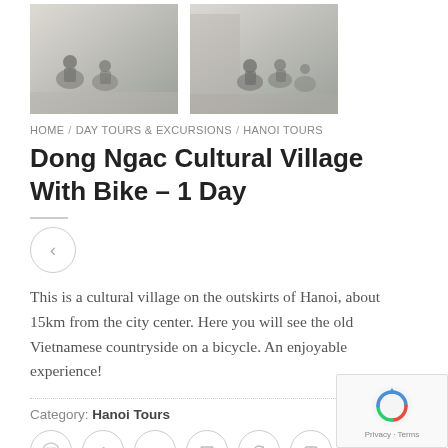[Figure (photo): Two cyclists on a narrow street in a Vietnamese village]
[Figure (photo): Group of cyclists with bicycles in a Vietnamese village alley]
HOME / DAY TOURS & EXCURSIONS / HANOI TOURS
Dong Ngac Cultural Village With Bike – 1 Day
This is a cultural village on the outskirts of Hanoi, about 15km from the city center. Here you will see the old Vietnamese countryside on a bicycle. An enjoyable experience!
Category: Hanoi Tours